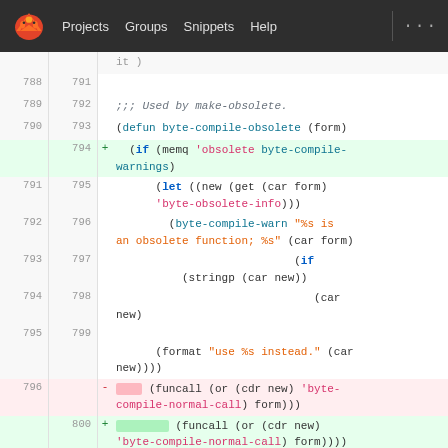[Figure (screenshot): GitLab navigation bar with logo, Projects, Groups, Snippets, Help links on dark background]
Code diff view showing lines 788-800 of a Lisp/Emacs file. The diff shows byte-compile-obsolete function definition with added line at 794 (if memq 'obsolete byte-compile-warnings) and deleted/added lines at 796/800 for funcall expressions.